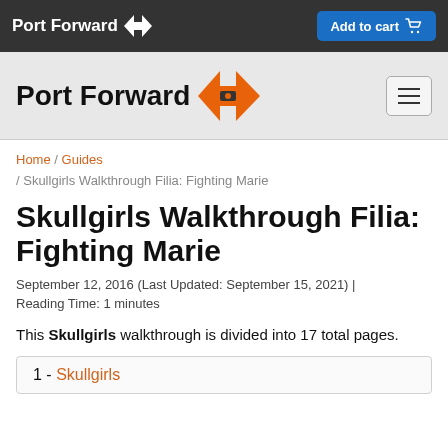Port Forward | Add to cart
[Figure (logo): Port Forward logo with orange chevron arrows in navigation bar]
Home / Guides / Skullgirls Walkthrough Filia: Fighting Marie
Skullgirls Walkthrough Filia: Fighting Marie
September 12, 2016 (Last Updated: September 15, 2021) | Reading Time: 1 minutes
This Skullgirls walkthrough is divided into 17 total pages.
1 - Skullgirls